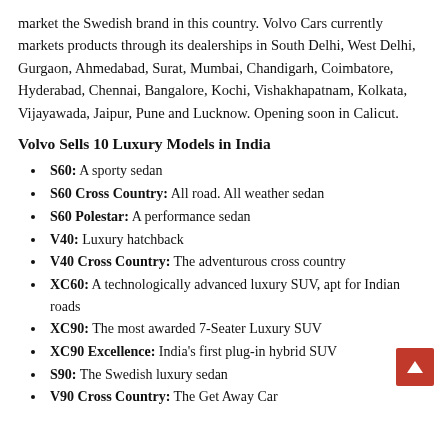market the Swedish brand in this country. Volvo Cars currently markets products through its dealerships in South Delhi, West Delhi, Gurgaon, Ahmedabad, Surat, Mumbai, Chandigarh, Coimbatore, Hyderabad, Chennai, Bangalore, Kochi, Vishakhapatnam, Kolkata, Vijayawada, Jaipur, Pune and Lucknow. Opening soon in Calicut.
Volvo Sells 10 Luxury Models in India
S60: A sporty sedan
S60 Cross Country: All road. All weather sedan
S60 Polestar: A performance sedan
V40: Luxury hatchback
V40 Cross Country: The adventurous cross country
XC60: A technologically advanced luxury SUV, apt for Indian roads
XC90: The most awarded 7-Seater Luxury SUV
XC90 Excellence: India's first plug-in hybrid SUV
S90: The Swedish luxury sedan
V90 Cross Country: The Get Away Car